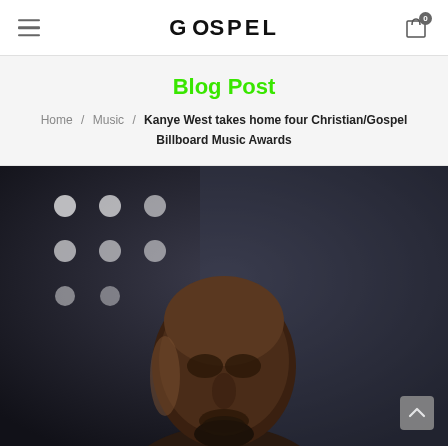GOSPEL
Blog Post
Home / Music / Kanye West takes home four Christian/Gospel Billboard Music Awards
[Figure (photo): Close-up photo of Kanye West in front of an American flag with stars visible, looking to the side with a serious expression. Dark and dramatic lighting.]